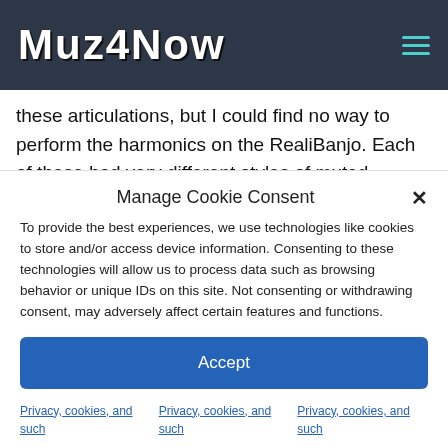Muz4Now
these articulations, but I could find no way to perform the harmonics on the RealiBanjo. Each of these had very different styles of muted playing as you can hear at about the 6 second
Manage Cookie Consent
To provide the best experiences, we use technologies like cookies to store and/or access device information. Consenting to these technologies will allow us to process data such as browsing behavior or unique IDs on this site. Not consenting or withdrawing consent, may adversely affect certain features and functions.
Accept
Privacy, cookies, and such
Privacy, cookies, and such
Privacy, cookies, and such